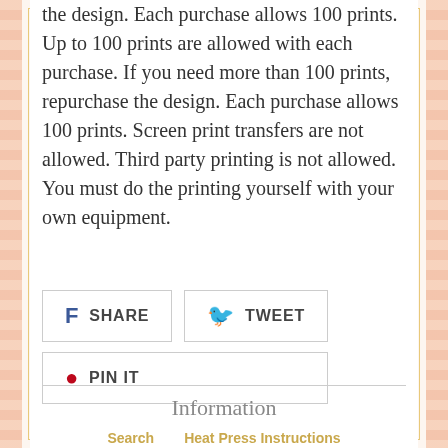the design. Each purchase allows 100 prints.
Up to 100 prints are allowed with each purchase. If you need more than 100 prints, repurchase the design. Each purchase allows 100 prints. Screen print transfers are not allowed. Third party printing is not allowed. You must do the printing yourself with your own equipment.
[Figure (infographic): Social sharing buttons: Facebook SHARE, Twitter TWEET, Pinterest PIN IT]
Information
Search    Heat Press Instructions